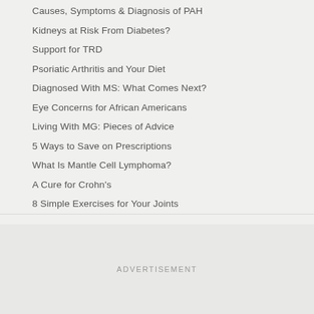Causes, Symptoms & Diagnosis of PAH
Kidneys at Risk From Diabetes?
Support for TRD
Psoriatic Arthritis and Your Diet
Diagnosed With MS: What Comes Next?
Eye Concerns for African Americans
Living With MG: Pieces of Advice
5 Ways to Save on Prescriptions
What Is Mantle Cell Lymphoma?
A Cure for Crohn's
8 Simple Exercises for Your Joints
ADVERTISEMENT